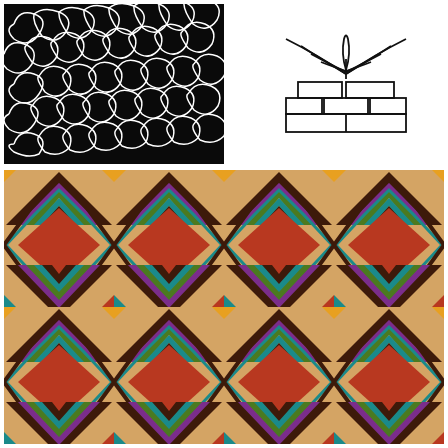[Figure (illustration): Black background with white swirling arabesque/scroll decorative pattern]
[Figure (illustration): Line drawing of a stylized plant/flower with radiating leaves above a stacked brick/block pedestal, outline style]
[Figure (illustration): Large colorful geometric repeating pattern with zigzag chevrons and diamond shapes in teal, red, orange, purple, green, brown on a tan/beige background]